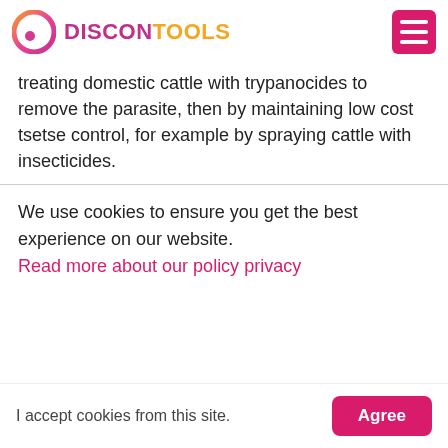DISCONTOOLS
treating domestic cattle with trypanocides to remove the parasite, then by maintaining low cost tsetse control, for example by spraying cattle with insecticides.
We use cookies to ensure you get the best experience on our website. Read more about our policy privacy
I accept cookies from this site.